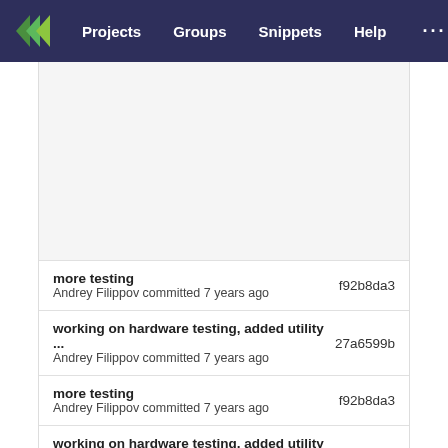Projects  Groups  Snippets  Help
more testing  f92b8da3  Andrey Filippov committed 7 years ago
working on hardware testing, added utility ...  27a6599b  Andrey Filippov committed 7 years ago
more testing  f92b8da3  Andrey Filippov committed 7 years ago
working on hardware testing, added utility ...  27a6599b  Andrey Filippov committed 7 years ago
more testing  f92b8da3  Andrey Filippov committed 7 years ago